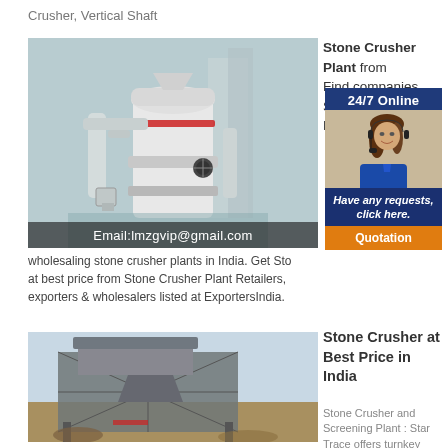Crusher, Vertical Shaft
[Figure (photo): Industrial stone crusher/vertical shaft machine with white cylindrical body and piping, with email overlay text 'Email:lmzgvip@gmail.com']
Stone Crusher Plant from Find companies Stone Crusher Manufacturers wholesaling stone crusher plants in India. Get Stone at best price from Stone Crusher Plant Retailers, exporters & wholesalers listed at ExportersIndia.
[Figure (other): Chat widget with '24/7 Online' header, customer service representative photo, 'Have any requests, click here.' text, and 'Quotation' button]
[Figure (photo): Outdoor stone crusher plant/screening plant with metal frame structure against a light sky background]
Stone Crusher at Best Price in India
Stone Crusher and Screening Plant : Star Trace offers turnkey